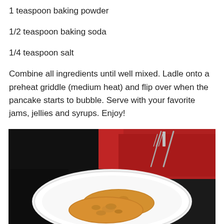1 teaspoon baking powder
1/2 teaspoon baking soda
1/4 teaspoon salt
Combine all ingredients until well mixed. Ladle onto a preheat griddle (medium heat) and flip over when the pancake starts to bubble. Serve with your favorite jams, jellies and syrups. Enjoy!
[Figure (photo): A white plate with two golden-brown pancakes served on it, with a red napkin and silverware (knife and fork) visible in the background on a dark table.]